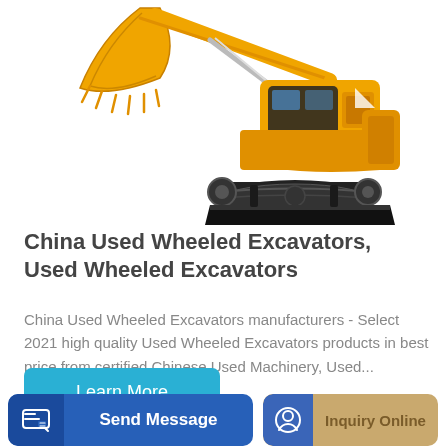[Figure (photo): Yellow/orange tracked mini excavator with arm raised and bucket visible at top-left, on white background]
China Used Wheeled Excavators, Used Wheeled Excavators
China Used Wheeled Excavators manufacturers - Select 2021 high quality Used Wheeled Excavators products in best price from certified Chinese Used Machinery, Used...
Learn More
Send Message
Inquiry Online